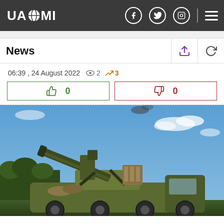UAZMI
News
06:39 , 24 August 2022  👁 2  📈 3
👍 0   👎 0
[Figure (photo): Military self-propelled howitzer (camouflage green) with barrel elevated, photographed against a partly cloudy blue sky, trees visible in background.]